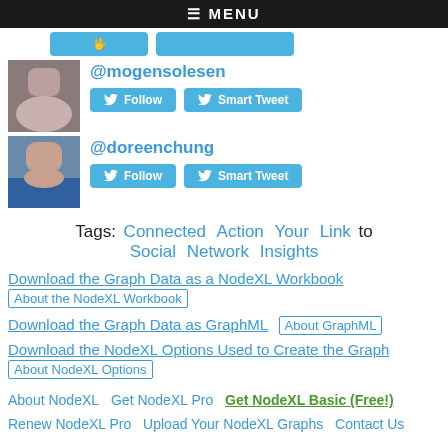≡ MENU
@mogensolesen
Follow | Smart Tweet
@doreenchung
Follow | Smart Tweet
Tags: Connected Action Your Link to Social Network Insights
Download the Graph Data as a NodeXL Workbook
[Figure (screenshot): About the NodeXL Workbook image link placeholder]
Download the Graph Data as GraphML
[Figure (screenshot): About GraphML image link placeholder]
Download the NodeXL Options Used to Create the Graph
[Figure (screenshot): About NodeXL Options image link placeholder]
About NodeXL  Get NodeXL Pro  Get NodeXL Basic (Free!)  Renew NodeXL Pro  Upload Your NodeXL Graphs  Contact Us